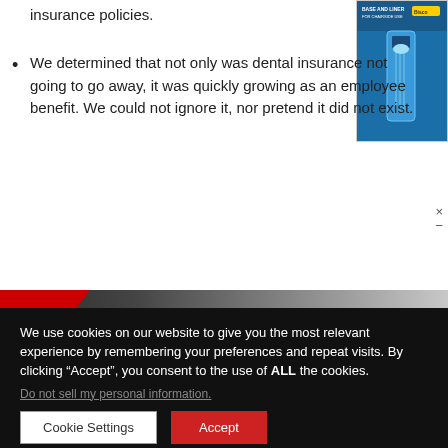insurance policies.
We determined that not only was dental insurance not going to go away, it was quickly growing as an employee benefit. We could not ignore it, nor pretend it did not exist.
[Figure (screenshot): Partially visible advertisement showing a blue dental product package labeled BASE AND LINER with a toothbrush.]
[Figure (logo): Glidewell Symposium 2022 banner/popup with tooth graphic, red triangle accent, dark background, red and black text.]
omes with
road as an
We use cookies on our website to give you the most relevant experience by remembering your preferences and repeat visits. By clicking “Accept”, you consent to the use of ALL the cookies.
Do not sell my personal information.
Cookie Settings
Accept